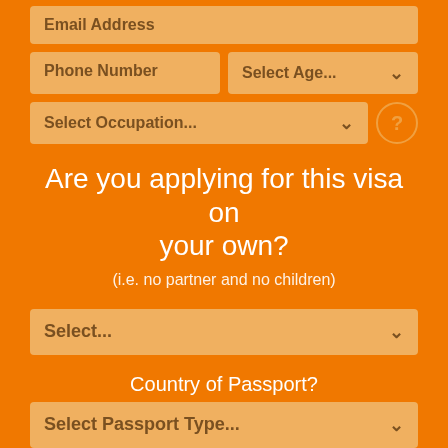[Figure (screenshot): Web form screenshot with orange background showing visa application form fields including Email Address, Phone Number, Select Age dropdown, Select Occupation dropdown with help icon, a question about applying for visa on your own, Select dropdown, Country of Passport label, Select Passport Type dropdown, Country Residing in label, Select dropdown, and How is your English label.]